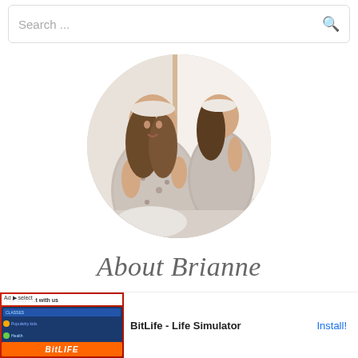Search ...
[Figure (photo): Circular profile photo of a young woman in a floral dress with a headband, sitting and looking at a mirror reflection in a bright room]
About Brianne
[Figure (screenshot): Advertisement banner for BitLife - Life Simulator app with red background game screenshot and install button]